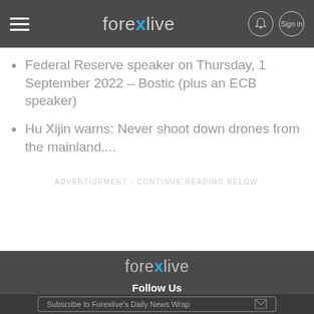forexlive
Federal Reserve speaker on Thursday, 1 September 2022 – Bostic (plus an ECB speaker)
Hu Xijin warns: Never shoot down drones from the mainland....
ADVERTISEMENT - CONTINUE READING BELOW
[Figure (logo): Forexlive logo in footer area]
Follow Us
Subscribe to Forexlive's Daily News Wrap